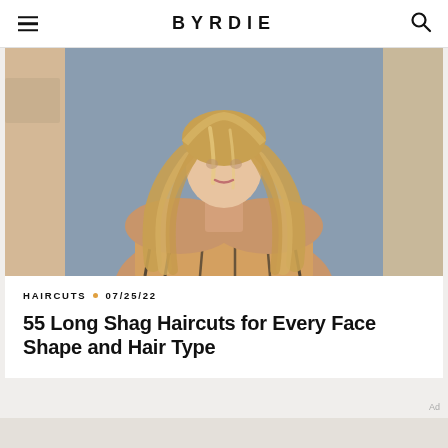BYRDIE
[Figure (photo): Woman with long wavy blonde shag haircut, wearing a beige/animal print outfit, photographed against a neutral background]
HAIRCUTS • 07/25/22
55 Long Shag Haircuts for Every Face Shape and Hair Type